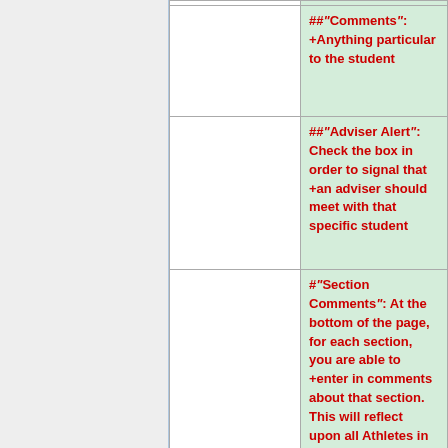|  | ##"Comments": +Anything particular to the student |
|  | ##"Adviser Alert": Check the box in order to signal that an adviser should meet with that specific student |
|  | #"Section Comments": At the bottom of the page, for each section, you are able to enter in comments about that section. This will reflect upon all Athletes in that Section. |
|  | +<br /> |
|  | *This system ONLY |